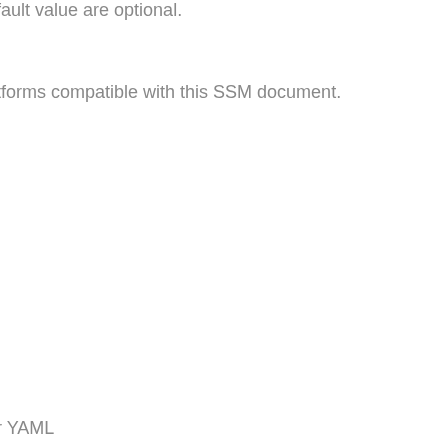fault value are optional.
tforms compatible with this SSM document.
r YAML